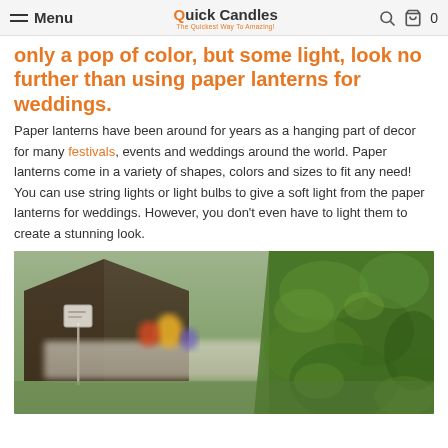Menu | Quick Candles - The Quickest Way To Amazing!
only a pop of color, but some light, look no further than using paper lanterns for weddings.
Paper lanterns have been around for years as a hanging part of decor for many festivals, events and weddings around the world. Paper lanterns come in a variety of shapes, colors and sizes to fit any need! You can use string lights or light bulbs to give a soft light from the paper lanterns for weddings. However, you don't even have to light them to create a stunning look.
[Figure (photo): Outdoor scene showing a tent, a table with colorful items including what appears to be a yellow rubber duck, a sign on a pole, and green foliage/bushes on the right side.]